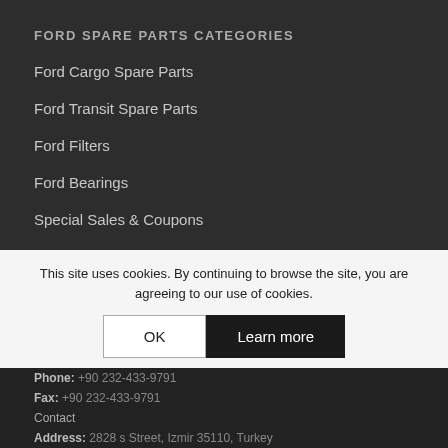FORD SPARE PARTS CATEGORIES
Ford Cargo Spare Parts
Ford Transit Spare Parts
Ford Filters
Ford Bearings
Special Sales & Coupons
QUICK CONTACT
Phone: +90 232-433-9791
Fax: +90 232-433-9791
Contact
Address: 2828 s... Street, Izmir 35110, Turkey
This site uses cookies. By continuing to browse the site, you are agreeing to our use of cookies.